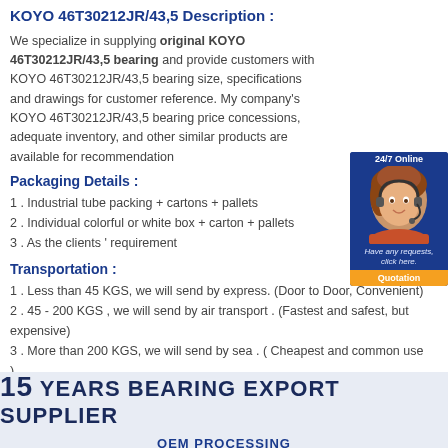KOYO 46T30212JR/43,5 Description :
We specialize in supplying original KOYO 46T30212JR/43,5 bearing and provide customers with KOYO 46T30212JR/43,5 bearing size, specifications and drawings for customer reference. My company's KOYO 46T30212JR/43,5 bearing price concessions, adequate inventory, and other similar products are available for recommendation
[Figure (photo): Customer support representative with headset, 24/7 Online chat widget with Quotation button]
Packaging Details :
1 . Industrial tube packing + cartons + pallets
2 . Individual colorful or white box + carton + pallets
3 . As the clients ' requirement
Transportation :
1 . Less than 45 KGS, we will send by express. (Door to Door, Convenient)
2 . 45 - 200 KGS , we will send by air transport . (Fastest and safest, but expensive)
3 . More than 200 KGS, we will send by sea . ( Cheapest and common use )
[Figure (infographic): 15 YEARS BEARING EXPORT SUPPLIER banner with OEM PROCESSING subtitle on light blue background]